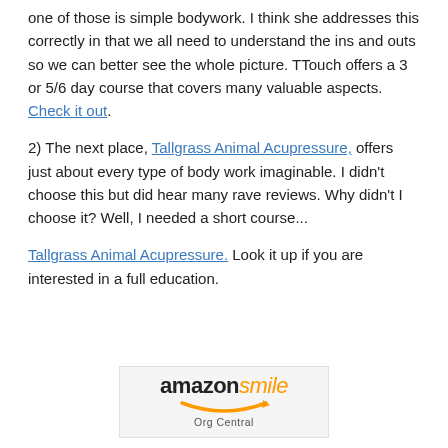one of those is simple bodywork.  I think she addresses this correctly in that we all need to understand the ins and outs so we can better see the whole picture.  TTouch offers a 3 or 5/6 day course that covers many valuable aspects.  Check it out.
2)  The next place, Tallgrass Animal Acupressure, offers just about every type of body work imaginable.  I didn't choose this but did hear many rave reviews.  Why didn't I choose it?  Well, I needed a short course...
Tallgrass Animal Acupressure. Look it up if you are interested in a full education.
[Figure (logo): Amazon Smile Org Central logo — 'amazon' in bold black, 'smile' in orange italic, with an orange arrow/smile arc below, and 'Org Central' in grey beneath]